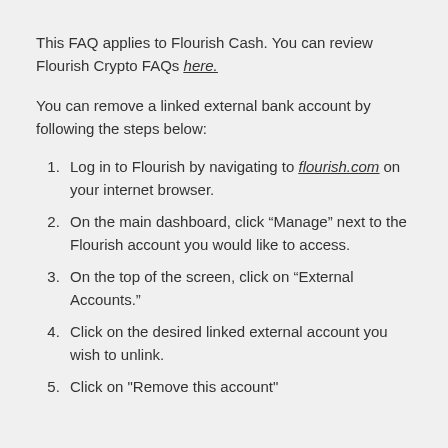This FAQ applies to Flourish Cash. You can review Flourish Crypto FAQs here.
You can remove a linked external bank account by following the steps below:
Log in to Flourish by navigating to flourish.com on your internet browser.
On the main dashboard, click “Manage” next to the Flourish account you would like to access.
On the top of the screen, click on “External Accounts.”
Click on the desired linked external account you wish to unlink.
Click on "Remove this account"